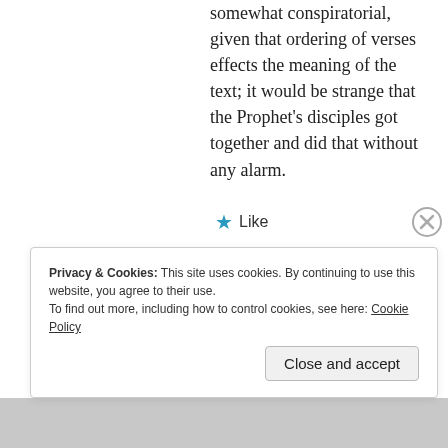somewhat conspiratorial, given that ordering of verses effects the meaning of the text; it would be strange that the Prophet's disciples got together and did that without any alarm.
★ Like
Privacy & Cookies: This site uses cookies. By continuing to use this website, you agree to their use. To find out more, including how to control cookies, see here: Cookie Policy
Close and accept